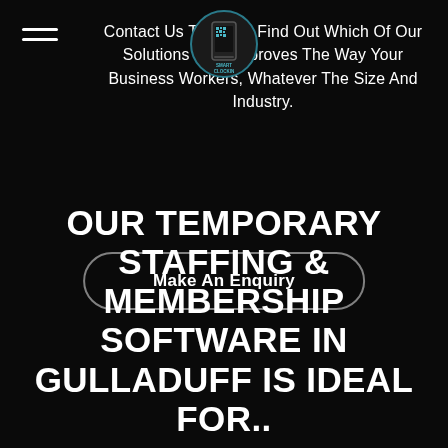[Figure (logo): Smart ClockIn logo — circular badge with a smartphone icon and QR code graphic, text reads SMART CLOCKIN]
Contact Us Today To Find Out Which Of Our Solutions Best Improves The Way Your Business Workers, Whatever The Size And Industry.
Make An Enquiry
OUR TEMPORARY STAFFING & MEMBERSHIP SOFTWARE IN GULLADUFF IS IDEAL FOR..